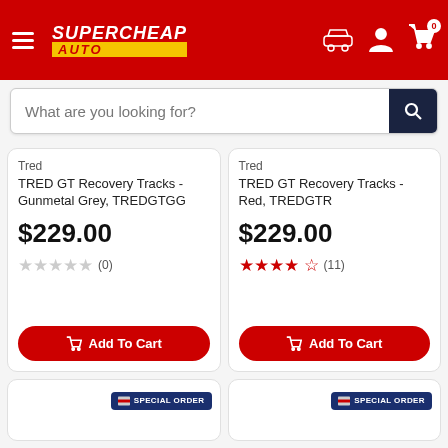Supercheap Auto - header with hamburger menu, logo, car icon, user icon, cart icon (0)
What are you looking for?
Tred
TRED GT Recovery Tracks - Gunmetal Grey, TREDGTGG
$229.00
(0) reviews
Add To Cart
Tred
TRED GT Recovery Tracks - Red, TREDGTR
$229.00
(11) reviews
Add To Cart
[Figure (screenshot): Special Order badge on bottom-left card]
[Figure (screenshot): Special Order badge on bottom-right card]